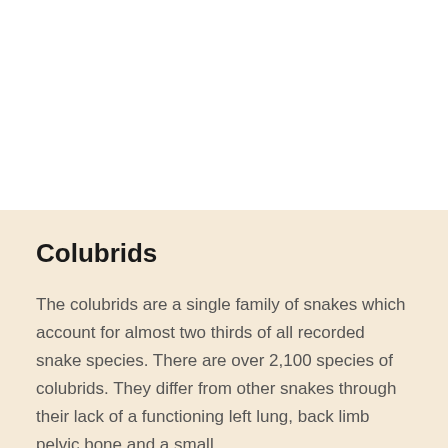[Figure (photo): White area representing the top portion of the page, likely an image area above the text section]
Colubrids
The colubrids are a single family of snakes which account for almost two thirds of all recorded snake species. There are over 2,100 species of colubrids. They differ from other snakes through their lack of a functioning left lung, back limb pelvic bone and a small